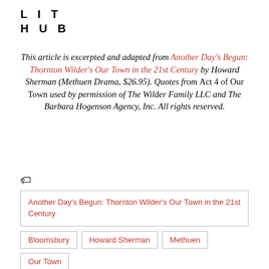LIT HUB
This article is excerpted and adapted from Another Day's Begun: Thornton Wilder's Our Town in the 21st Century by Howard Sherman (Methuen Drama, $26.95). Quotes from Act 4 of Our Town used by permission of The Wilder Family LLC and The Barbara Hogenson Agency, Inc. All rights reserved.
Another Day's Begun: Thornton Wilder's Our Town in the 21st Century
Bloomsbury
Howard Sherman
Methuen
Our Town
plays
theater
Thornton Wilder